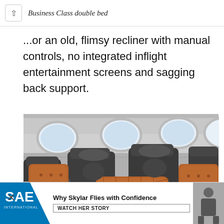Business Class double bed
...or an old, flimsy recliner with manual controls, no integrated inflight entertainment screens and sagging back support.
[Figure (photo): Interior of an airplane cabin showing rows of dark gray/charcoal leather business class recliner seats with orange/rust patterned pillows, oval windows visible in background]
[Figure (infographic): SAE International advertisement banner: logo on left with diagonal blue stripe design, text reads 'Why Skylar Flies with Confidence' with 'WATCH HER STORY' call-to-action button, person in business attire on right side]